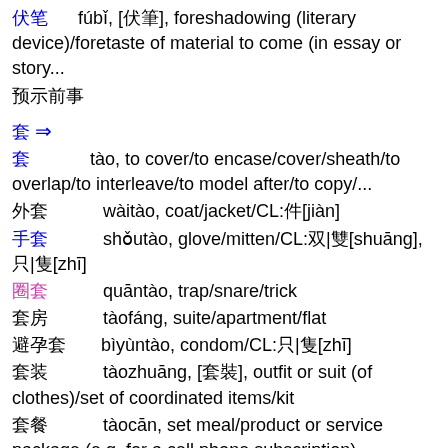伏笔, fúbǐ, [伏筆], foreshadowing (literary device)/foretaste of material to come (in essay or story...
预示前事
套 ⇒
套   tào, to cover/to encase/cover/sheath/to overlap/to interleave/to model after/to copy/...
外套   wàitào, coat/jacket/CL:件[jiàn]
手套   shǒutào, glove/mitten/CL:双|雙[shuāng],只|隻[zhī]
圈套   quāntào, trap/snare/trick
套房   tàofáng, suite/apartment/flat
避孕套   bìyùntào, condom/CL:只|隻[zhī]
套装   tàozhuāng, [套裝], outfit or suit (of clothes)/set of coordinated items/kit
套餐   tàocān, set meal/product or service package (e.g. for a cell phone subscription)